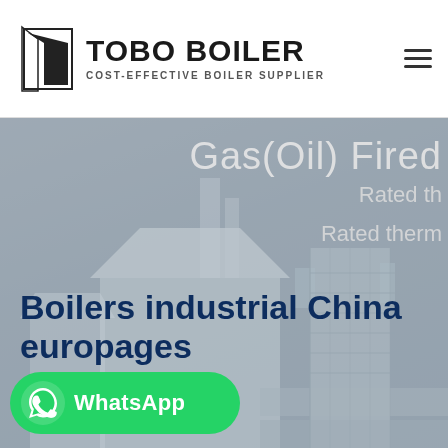TOBO BOILER — COST-EFFECTIVE BOILER SUPPLIER
[Figure (screenshot): Hero banner image of industrial boiler equipment with partial overlay text reading 'Gas(Oil) Fired', 'Rated th...', 'Rated therm...' on right side, and bold dark navy text 'Boilers industrial China europages' overlaid on a grey-tinted industrial background photo. A green WhatsApp button is visible at the bottom left.]